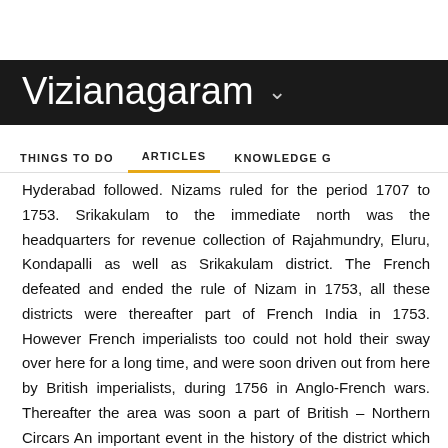Vizianagaram
THINGS TO DO   ARTICLES   KNOWLEDGE G
Hyderabad followed. Nizams ruled for the period 1707 to 1753. Srikakulam to the immediate north was the headquarters for revenue collection of Rajahmundry, Eluru, Kondapalli as well as Srikakulam district. The French defeated and ended the rule of Nizam in 1753, all these districts were thereafter part of French India in 1753. However French imperialists too could not hold their sway over here for a long time, and were soon driven out from here by British imperialists, during 1756 in Anglo-French wars. Thereafter the area was soon a part of British – Northern Circars An important event in the history of the district which occurred at about this time is the war between the Rajas of Vizianagaram and Bobbili, and also known as Bobbili Yudha. The